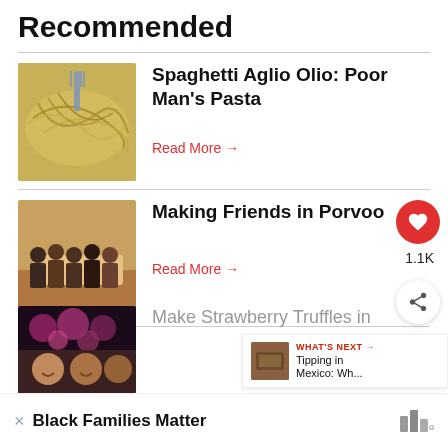Recommended
Spaghetti Aglio Olio: Poor Man's Pasta
Read More →
Making Friends in Porvoo
1.1K
Read More →
WHAT'S NEXT → Tipping in Mexico: Wh...
Make Strawberry Truffles in
Black Families Matter